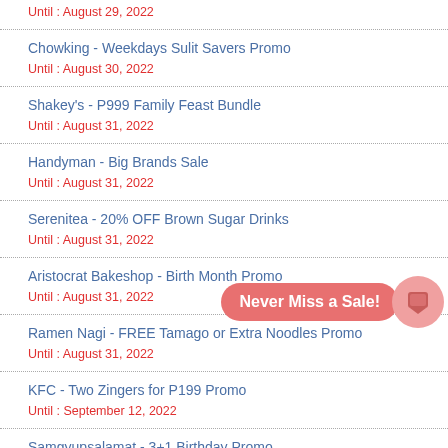Until : August 29, 2022
Chowking - Weekdays Sulit Savers Promo
Until : August 30, 2022
Shakey's - P999 Family Feast Bundle
Until : August 31, 2022
Handyman - Big Brands Sale
Until : August 31, 2022
Serenitea - 20% OFF Brown Sugar Drinks
Until : August 31, 2022
Aristocrat Bakeshop - Birth Month Promo
Until : August 31, 2022
Ramen Nagi - FREE Tamago or Extra Noodles Promo
Until : August 31, 2022
KFC - Two Zingers for P199 Promo
Until : September 12, 2022
Samgyupsalamat - 3+1 Birthday Promo
Until : December 31, 2022